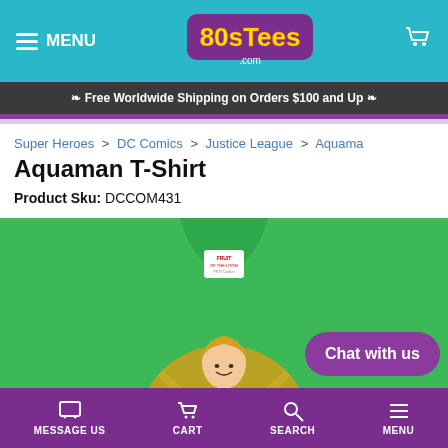MENU | 80sTees.com | Cart
✦ Free Worldwide Shipping on Orders $100 and Up ✦
Super Heroes > DC Comics > Justice League > Aquama
Aquaman T-Shirt
Product Sku: DCCOM431
[Figure (photo): Green Aquaman T-Shirt with Fruit of the Loom tag, showing Aquaman character circular graphic at bottom]
Chat with us
MESSAGE US | CART | SEARCH | MENU